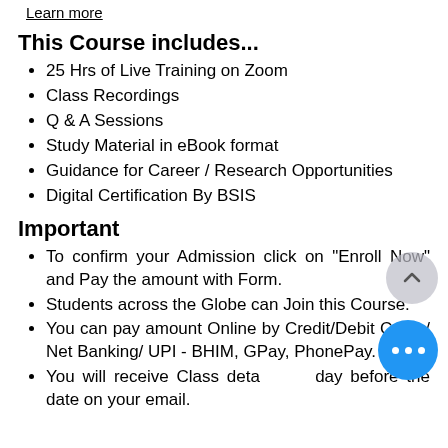Learn more
This Course includes...
25 Hrs of Live Training on Zoom
Class Recordings
Q & A Sessions
Study Material in eBook format
Guidance for Career / Research Opportunities
Digital Certification By BSIS
Important
To confirm your Admission click on "Enroll Now" and Pay the amount with Form.
Students across the Globe can Join this Course.
You can pay amount Online by Credit/Debit Cards/ Net Banking/ UPI - BHIM, GPay, PhonePay.
You will receive Class details the day before the date on your email.